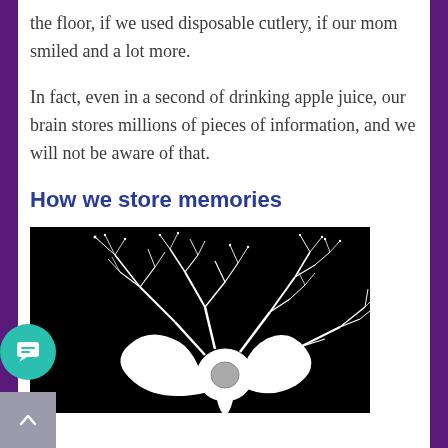the floor, if we used disposable cutlery, if our mom smiled and a lot more.
In fact, even in a second of drinking apple juice, our brain stores millions of pieces of information, and we will not be aware of that.
How we store memories
[Figure (illustration): Black background illustration of a neuron with a central cell body and multiple branching dendrites extending outward, drawn in white lines]